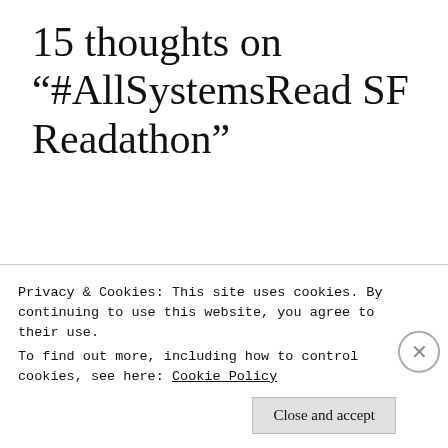15 thoughts on “#AllSystemsRead SF Readathon”
imyril @ There's Always Room For One More
Privacy & Cookies: This site uses cookies. By continuing to use this website, you agree to their use.
To find out more, including how to control cookies, see here: Cookie Policy